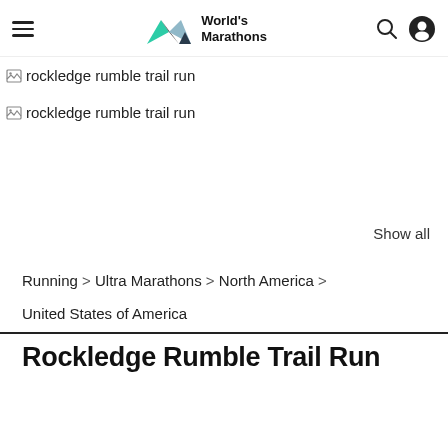World's Marathons
[Figure (other): Broken image placeholder with alt text: rockledge rumble trail run]
[Figure (other): Broken image placeholder with alt text: rockledge rumble trail run]
Show all
Running > Ultra Marathons > North America >
United States of America
Rockledge Rumble Trail Run